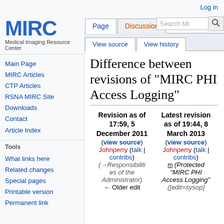Log in
[Figure (logo): MIRC logo - Medical Imaging Resource Center]
Main Page
MIRC Articles
CTP Articles
RSNA MIRC Site
Downloads
Contact
Article Index
Tools
What links here
Related changes
Special pages
Printable version
Permanent link
Difference between revisions of "MIRC PHI Access Logging"
| Revision as of 17:59, 5 December 2011 | Latest revision as of 19:44, 8 March 2013 |
| --- | --- |
| (view source) | (view source) |
| Johnperry (talk | contribs) | Johnperry (talk | contribs) |
| (→Responsibilities of the Administrator) | m (Protected "MIRC PHI Access Logging" |
| ← Older edit | ([edit=sysop] |